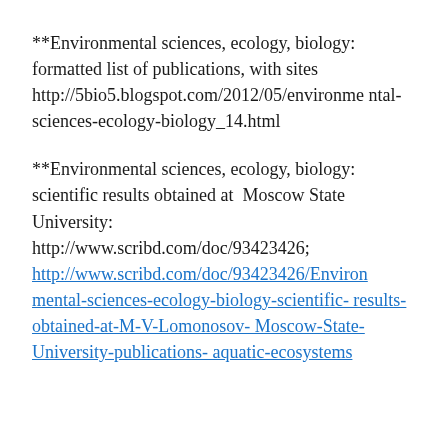**Environmental sciences, ecology, biology: formatted list of publications, with sites http://5bio5.blogspot.com/2012/05/environmental-sciences-ecology-biology_14.html
**Environmental sciences, ecology, biology: scientific results obtained at Moscow State University: http://www.scribd.com/doc/93423426; http://www.scribd.com/doc/93423426/Environmental-sciences-ecology-biology-scientific-results-obtained-at-M-V-Lomonosov-Moscow-State-University-publications-aquatic-ecosystems